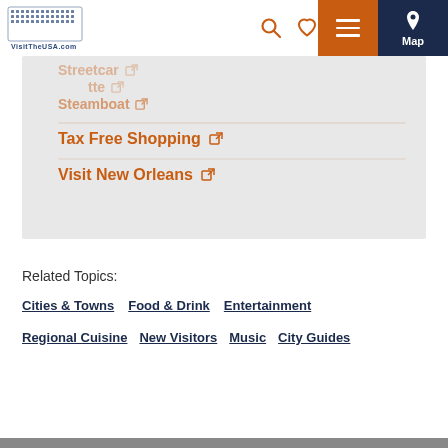VisitTheUSA.com
Steamboat
Tax Free Shopping
Visit New Orleans
Related Topics:
Cities & Towns
Food & Drink
Entertainment
Regional Cuisine
New Visitors
Music
City Guides